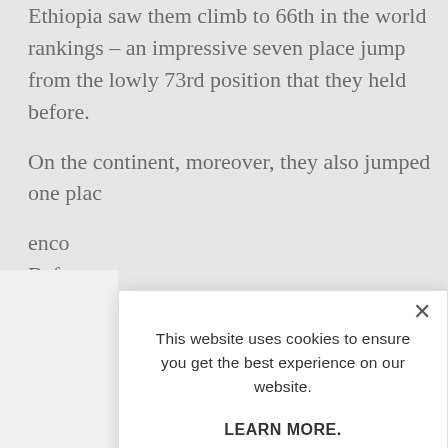Ethiopia saw them climb to 66th in the world rankings – an impressive seven place jump from the lowly 73rd position that they held before.
On the continent, moreover, they also jumped one plac… from 10th to 10th. This will be…
enco… Bafa… whe…
@Mi…
This website uses cookies to ensure you get the best experience on our website.

LEARN MORE.

ACCEPT COOKIES